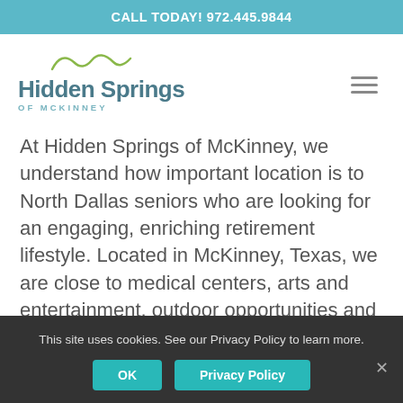CALL TODAY! 972.445.9844
[Figure (logo): Hidden Springs of McKinney logo with teal swirl decorative element above the text]
At Hidden Springs of McKinney, we understand how important location is to North Dallas seniors who are looking for an engaging, enriching retirement lifestyle. Located in McKinney, Texas, we are close to medical centers, arts and entertainment, outdoor opportunities and everything else you love about this area.
This site uses cookies. See our Privacy Policy to learn more.